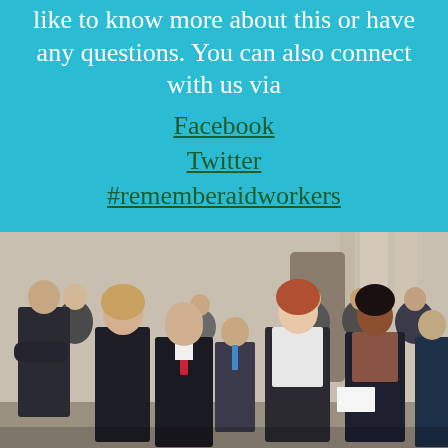like to know more about this or have any questions. You can also connect with us via Facebook Twitter #rememberaidworkers
[Figure (photo): A group of formally dressed people standing outside a building, some bowing their heads solemnly, appearing to be at a memorial or formal event.]